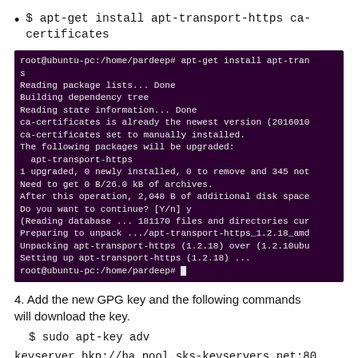$ apt-get install apt-transport-https ca-certificates
[Figure (screenshot): Terminal output showing apt-get install apt-transport-https ca-certificates command running, with package installation messages.]
4. Add the new GPG key and the following commands will download the key.
$ sudo apt-key adv
keyserver hkp://ha.pool.sks-keyservers.net:80